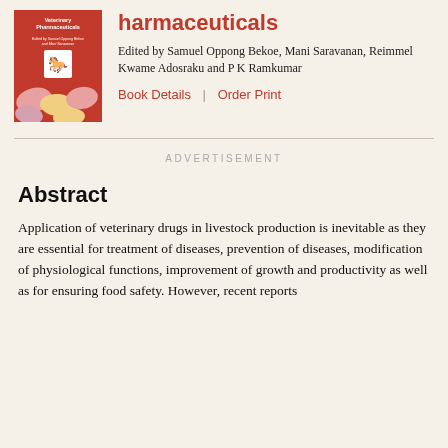[Figure (illustration): Red book cover with title 'Veterinary Pharmaceuticals', edited by Samuel Oppong Bekoe and Mani Saravanan, showing pills/tablets image]
harmaceuticals
Edited by Samuel Oppong Bekoe, Mani Saravanan, Reimmel Kwame Adosraku and P K Ramkumar
Book Details | Order Print
ADVERTISEMENT
Abstract
Application of veterinary drugs in livestock production is inevitable as they are essential for treatment of diseases, prevention of diseases, modification of physiological functions, improvement of growth and productivity as well as for ensuring food safety. However, recent reports